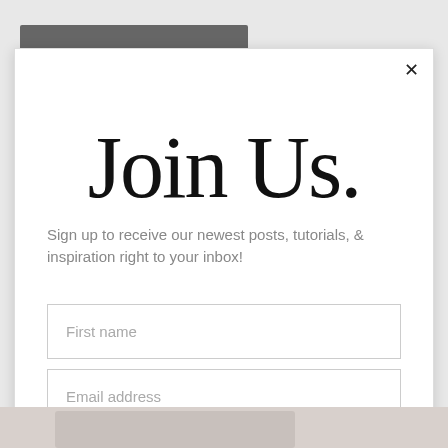[Figure (screenshot): Website popup modal with 'Join Us.' handwritten style title, subscription form with First name and Email address fields, and a Subscribe button]
Join Us.
Sign up to receive our newest posts, tutorials, & inspiration right to your inbox!
First name
Email address
Subscribe